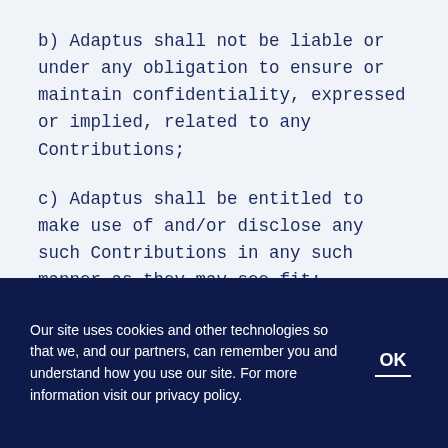b) Adaptus shall not be liable or under any obligation to ensure or maintain confidentiality, expressed or implied, related to any Contributions;
c) Adaptus shall be entitled to make use of and/or disclose any such Contributions in any such manner as they may see fit;
d) the contributor's Contributions shall
Our site uses cookies and other technologies so that we, and our partners, can remember you and understand how you use our site. For more information visit our privacy policy.